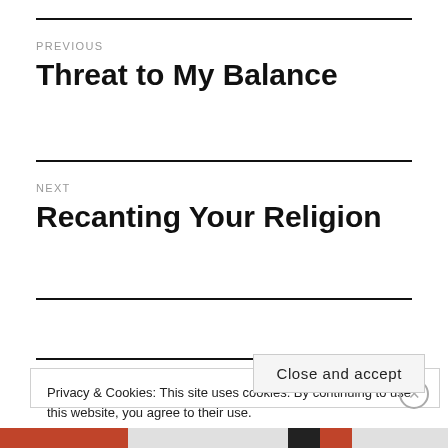PREVIOUS
Threat to My Balance
NEXT
Recanting Your Religion
Privacy & Cookies: This site uses cookies. By continuing to use this website, you agree to their use.
To find out more, including how to control cookies, see here: Cookie Policy
Close and accept